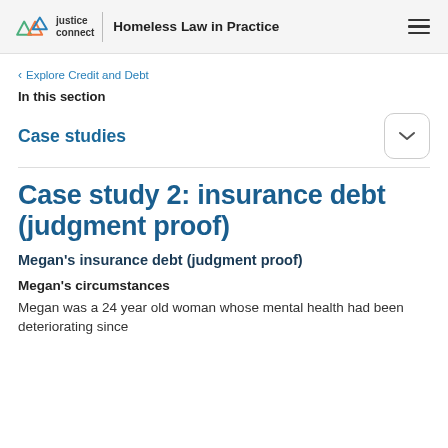justice connect | Homeless Law in Practice
< Explore Credit and Debt
In this section
Case studies
Case study 2: insurance debt (judgment proof)
Megan's insurance debt (judgment proof)
Megan's circumstances
Megan was a 24 year old woman whose mental health had been deteriorating since